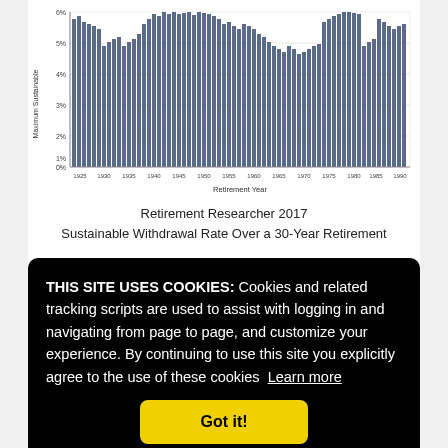[Figure (bar-chart): Maximum Sustainable Withdrawal Rate Over a 30-Year Retirement]
Retirement Researcher 2017
Sustainable Withdrawal Rate Over a 30-Year Retirement
THIS SITE USES COOKIES: Cookies and related tracking scripts are used to assist with logging in and navigating from page to page, and customize your experience. By continuing to use this site you explicitly agree to the use of these cookies  Learn more
lifecycle